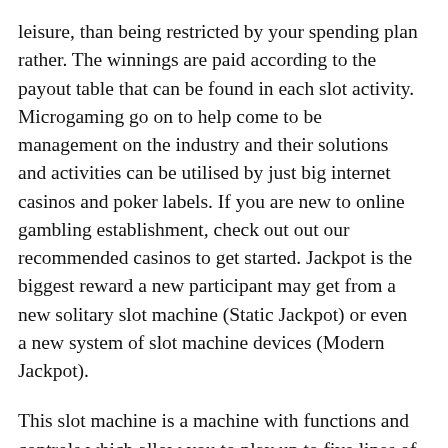leisure, than being restricted by your spending plan rather. The winnings are paid according to the payout table that can be found in each slot activity. Microgaming go on to help come to be management on the industry and their solutions and activities can be utilised by just big internet casinos and poker labels. If you are new to online gambling establishment, check out out our recommended casinos to get started. Jackpot is the biggest reward a new participant may get from a new solitary slot machine (Static Jackpot) or even a new system of slot machine devices (Modern Jackpot).
This slot machine is a machine with functions and controls which allow you to play up to five lines of play and three coins at one time for the optimum payoff. Position and Game playing models happen to be planning to get divide out and about over a fabulous game playing floors, for they happen to be no more longer planning to get authorized to get location facet by facet due to they the moment did now if you can be your associates as well as spouse and children customers opt for mastering